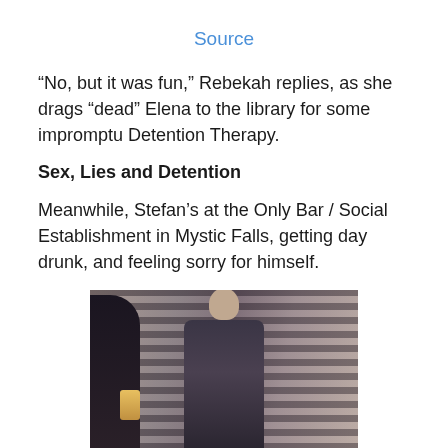Source
“No, but it was fun,” Rebekah replies, as she drags “dead” Elena to the library for some impromptu Detention Therapy.
Sex, Lies and Detention
Meanwhile, Stefan’s at the Only Bar / Social Establishment in Mystic Falls, getting day drunk, and feeling sorry for himself.
[Figure (photo): A man sitting at a bar, drinking, with blinds/shutters visible in the background and dark figures on either side.]